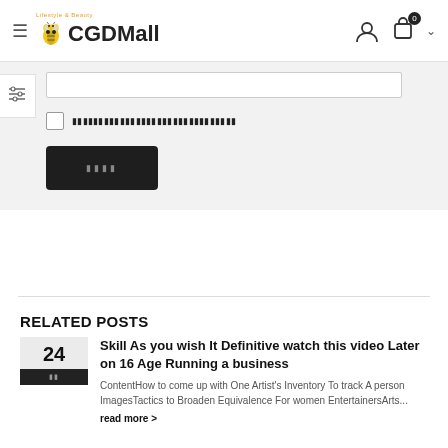[Figure (logo): CGDMall lifestyle and beauty logo with bee mascot, hamburger menu, user icon, cart icon with badge showing 0, and chevron]
[Figure (screenshot): Form section with input field, checkbox with label text in Thai/special characters, and dark submit button with placeholder text]
RELATED POSTS
Skill As you wish It Definitive watch this video Later on 16 Age Running a business
ContentHow to come up with One Artist's Inventory To track A person ImagesTactics to Broaden Equivalence For women EntertainersArts...
read more >